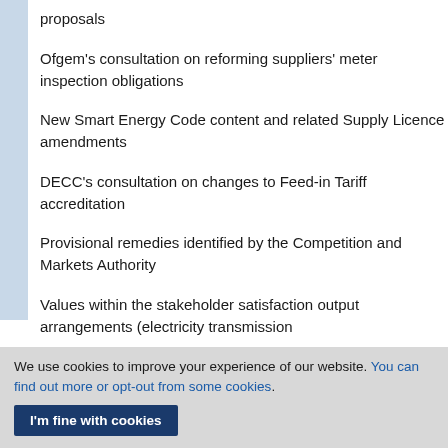proposals
Ofgem's consultation on reforming suppliers' meter inspection obligations
New Smart Energy Code content and related Supply Licence amendments
DECC's consultation on changes to Feed-in Tariff accreditation
Provisional remedies identified by the Competition and Markets Authority
Values within the stakeholder satisfaction output arrangements (electricity transmission
We use cookies to improve your experience of our website. You can find out more or opt-out from some cookies.
I'm fine with cookies